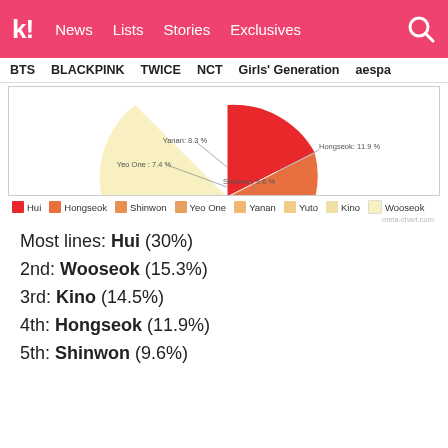K! News  Lists  Stories  Exclusives
BTS  BLACKPINK  TWICE  NCT  Girls' Generation  aespa
[Figure (pie-chart): Line distribution pie chart]
Most lines: Hui (30%)
2nd: Wooseok (15.3%)
3rd: Kino (14.5%)
4th: Hongseok (11.9%)
5th: Shinwon (9.6%)